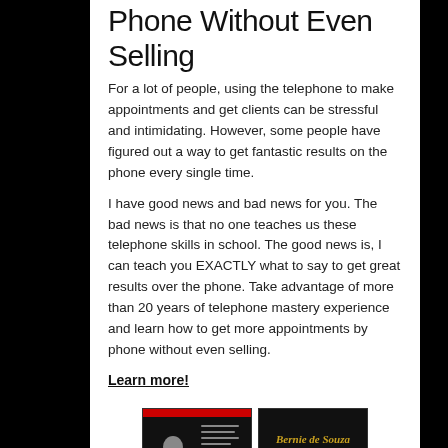Phone Without Even Selling
For a lot of people, using the telephone to make appointments and get clients can be stressful and intimidating. However, some people have figured out a way to get fantastic results on the phone every single time.
I have good news and bad news for you. The bad news is that no one teaches us these telephone skills in school. The good news is, I can teach you EXACTLY what to say to get great results over the phone. Take advantage of more than 20 years of telephone mastery experience and learn how to get more appointments by phone without even selling.
Learn more!
[Figure (photo): Two book covers on a black background. Left book shows a man in a suit with text, right book shows a cursive/signature style text in gold on black.]